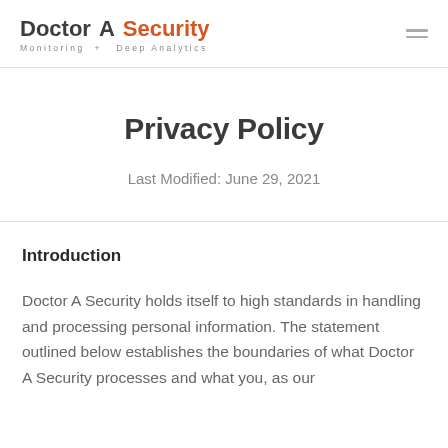Doctor A Security — Monitoring + Deep Analytics
Privacy Policy
Last Modified: June 29, 2021
Introduction
Doctor A Security holds itself to high standards in handling and processing personal information. The statement outlined below establishes the boundaries of what Doctor A Security processes and what you, as our